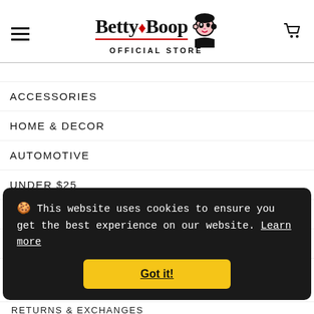Betty Boop Official Store - navigation header with hamburger menu and cart icon
ACCESSORIES
HOME & DECOR
AUTOMOTIVE
UNDER $25
SHOP ALL
MY PERSONAL DATA
This website uses cookies to ensure you get the best experience on our website. Learn more
Got it!
RETURNS & EXCHANGES